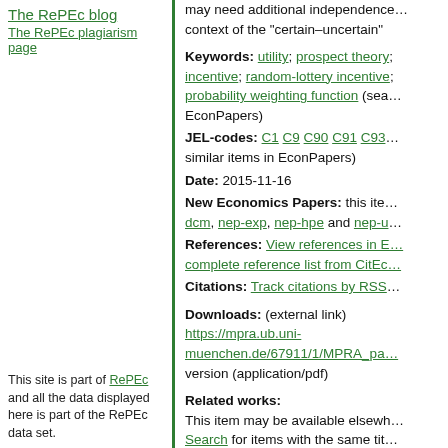The RePEc blog
The RePEc plagiarism page
may need additional independence... context of the "certain–uncertain"
Keywords: utility; prospect theory; incentive; random-lottery incentive; probability weighting function (search EconPapers)
JEL-codes: C1 C9 C90 C91 C93 similar items in EconPapers)
Date: 2015-11-16
New Economics Papers: this item dcm, nep-exp, nep-hpe and nep-u
References: View references in E... complete reference list from CitEc...
Citations: Track citations by RSS
Downloads: (external link) https://mpra.ub.uni-muenchen.de/67911/1/MPRA_pa... version (application/pdf)
Related works: This item may be available elsewh... Search for items with the same tit...
Export reference: BibTeX RIS (E... RefMan) HTML/Text
Persistent link:
This site is part of RePEc and all the data displayed here is part of the RePEc data set.